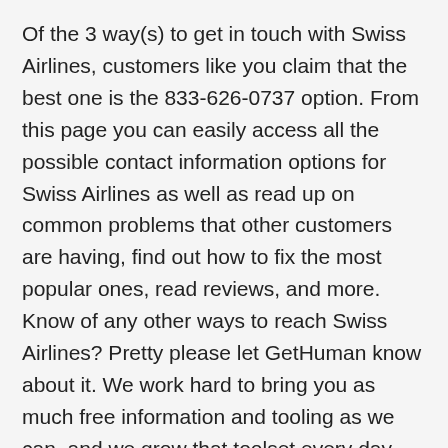Of the 3 way(s) to get in touch with Swiss Airlines, customers like you claim that the best one is the 833-626-0737 option. From this page you can easily access all the possible contact information options for Swiss Airlines as well as read up on common problems that other customers are having, find out how to fix the most popular ones, read reviews, and more. Know of any other ways to reach Swiss Airlines? Pretty please let GetHuman know about it. We work hard to bring you as much free information and tooling as we can, and we grow that toolset every day, bringing things like the call-back tool that skips the hold music when calling a company or call-recording for customers (beta). The more you use GetHuman and tell friends about it, the more we're able to provide useful, free tools for you and customers worldwide.